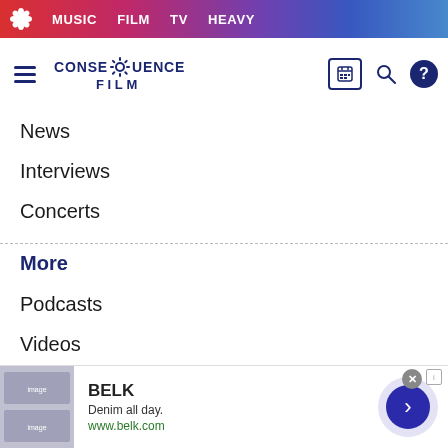MUSIC  FILM  TV  HEAVY
[Figure (logo): Consequence Film site logo with gear icon]
News
Interviews
Concerts
More
Podcasts
Videos
Music Videos
Streaming
[Figure (screenshot): BELK advertisement: Denim all day. www.belk.com]